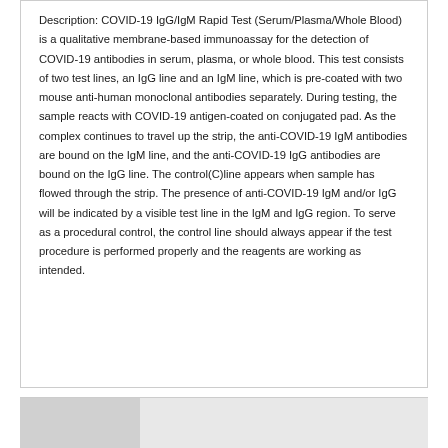Description: COVID-19 IgG/IgM Rapid Test (Serum/Plasma/Whole Blood) is a qualitative membrane-based immunoassay for the detection of COVID-19 antibodies in serum, plasma, or whole blood. This test consists of two test lines, an IgG line and an IgM line, which is pre-coated with two mouse anti-human monoclonal antibodies separately. During testing, the sample reacts with COVID-19 antigen-coated on conjugated pad. As the complex continues to travel up the strip, the anti-COVID-19 IgM antibodies are bound on the IgM line, and the anti-COVID-19 IgG antibodies are bound on the IgG line. The control(C)line appears when sample has flowed through the strip. The presence of anti-COVID-19 IgM and/or IgG will be indicated by a visible test line in the IgM and IgG region. To serve as a procedural control, the control line should always appear if the test procedure is performed properly and the reagents are working as intended.